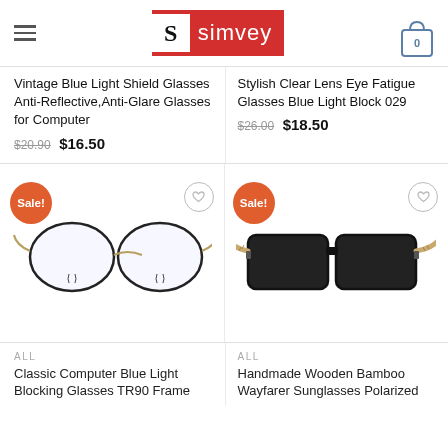simvey — navigation header with hamburger menu, logo, and cart (0)
Vintage Blue Light Shield Glasses Anti-Reflective,Anti-Glare Glasses for Computer
$20.90  $16.50
Stylish Clear Lens Eye Fatigue Glasses Blue Light Block 029
$26.00  $18.50
[Figure (photo): Classic Computer Blue Light Blocking Glasses TR90 Frame, black frame with gold bridge, clear lenses. Sale badge shown.]
[Figure (photo): Handmade Wooden Bamboo Wayfarer Sunglasses Polarized, black frame with wood/bamboo temples, dark lenses. Sale badge shown.]
ALL
Classic Computer Blue Light Blocking Glasses TR90 Frame
ALL
Handmade Wooden Bamboo Wayfarer Sunglasses Polarized